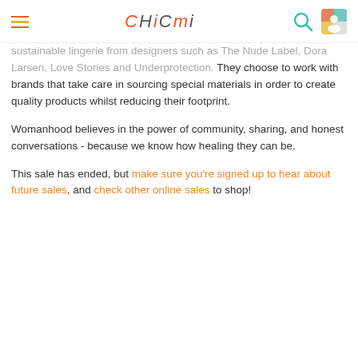CHICMI
sustainable lingerie from designers such as The Nude Label, Dora Larsen, Love Stories and Underprotection. They choose to work with brands that take care in sourcing special materials in order to create quality products whilst reducing their footprint.
Womanhood believes in the power of community, sharing, and honest conversations - because we know how healing they can be.
This sale has ended, but make sure you're signed up to hear about future sales, and check other online sales to shop!